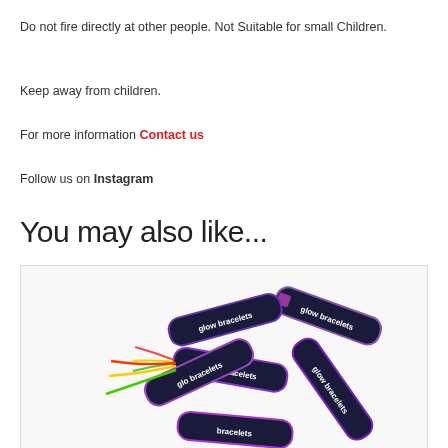Do not fire directly at other people. Not Suitable for small Children.
Keep away from children.
For more information Contact us
Follow us on Instagram
You may also like...
[Figure (photo): Photo of glow bracelets product packages with a brand logo (red dot with curved line) in top left corner. Multiple cylindrical packages labeled 'glow bracelets' scattered on white background.]